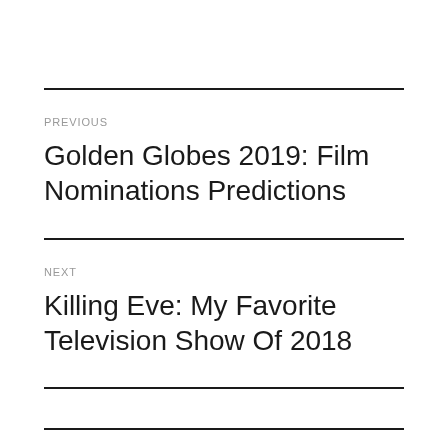PREVIOUS
Golden Globes 2019: Film Nominations Predictions
NEXT
Killing Eve: My Favorite Television Show Of 2018